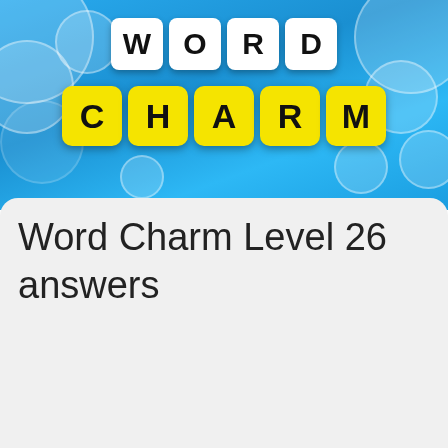[Figure (logo): Word Charm game logo with 'WORD' in white letter tiles and 'CHARM' in yellow letter tiles on a blue bubble background]
Word Charm Level 26 answers